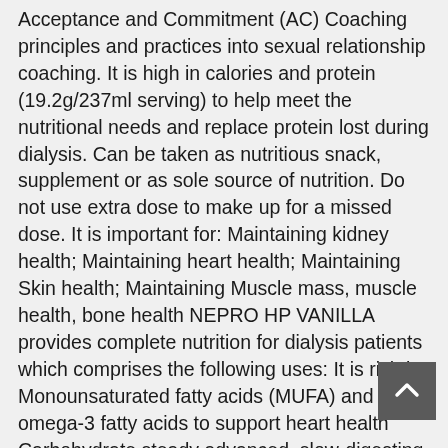Acceptance and Commitment (AC) Coaching principles and practices into sexual relationship coaching. It is high in calories and protein (19.2g/237ml serving) to help meet the nutritional needs and replace protein lost during dialysis. Can be taken as nutritious snack, supplement or as sole source of nutrition. Do not use extra dose to make up for a missed dose. It is important for: Maintaining kidney health; Maintaining heart health; Maintaining Skin health; Maintaining Muscle mass, muscle health, bone health NEPRO HP VANILLA provides complete nutrition for dialysis patients which comprises the following uses: It is rich in Monounsaturated fatty acids (MUFA) and omega-3 fatty acids to support heart health Carbohydrate steady advanced, slow-digesting, low Gastrointestinal (GI) carbohydrate complex to help manage blood sugar response 4. Buy now get free sample Available in : Trademarks & Tradenames used herein are the property of their respective holders. Non-dialyzed chronic kidney disease patients with elevated calorie and protein needs. Hair and nails are made of protein. Learn how to perform basic Echocardiography and diagnose common cardiac conditions. Ltd., its subsidiaries or affiliates. Originally